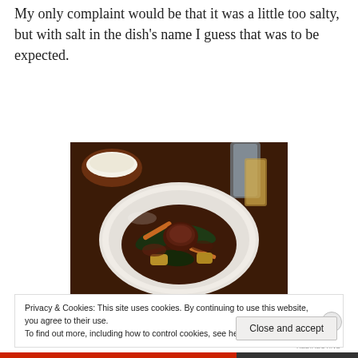My only complaint would be that it was a little too salty, but with salt in the dish's name I guess that was to be expected.
[Figure (photo): A white scalloped plate with a braised meat dish topped with mixed vegetables including greens, carrots, and other vegetables in a dark sauce. A bowl of rice and a glass of water are visible in the background on a dark wooden table.]
Privacy & Cookies: This site uses cookies. By continuing to use this website, you agree to their use.
To find out more, including how to control cookies, see here: Cookie Policy